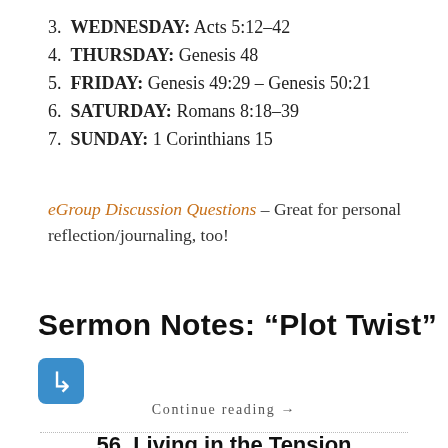3. WEDNESDAY: Acts 5:12–42
4. THURSDAY: Genesis 48
5. FRIDAY: Genesis 49:29 – Genesis 50:21
6. SATURDAY: Romans 8:18–39
7. SUNDAY: 1 Corinthians 15
eGroup Discussion Questions – Great for personal reflection/journaling, too!
Sermon Notes: “Plot Twist”
[Figure (illustration): Blue rounded square icon with a downward-left arrow symbol (return/redirect arrow) in white]
Continue reading →
56. Living in the Tension